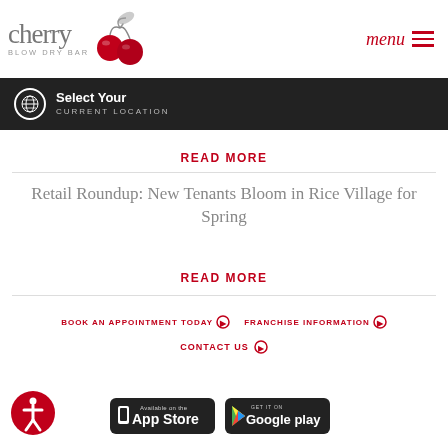[Figure (logo): Cherry Blow Dry Bar logo with cherry illustration and gray leaf]
menu ≡
Select Your CURRENT LOCATION
READ MORE
Retail Roundup: New Tenants Bloom in Rice Village for Spring
READ MORE
BOOK AN APPOINTMENT TODAY ⊙   FRANCHISE INFORMATION ⊙
CONTACT US ⊙
[Figure (logo): Accessibility icon - red circle with person figure]
[Figure (logo): Available on the App Store badge]
[Figure (logo): Get it on Google Play badge]